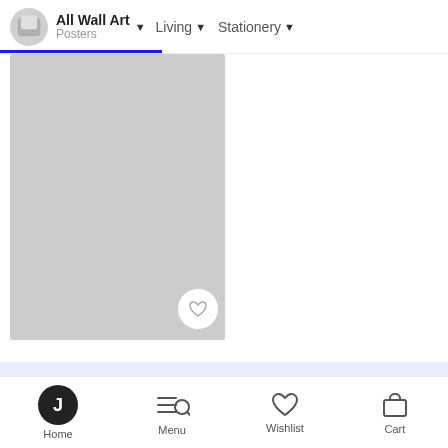All Wall Art Posters | Living | Stationery
[Figure (screenshot): Product image placeholder — light grey rectangle for a poster product]
Side by side
from £8.05 £8.95 -10% 2 DAYS LEFT
Home | Menu | Wishlist | Cart